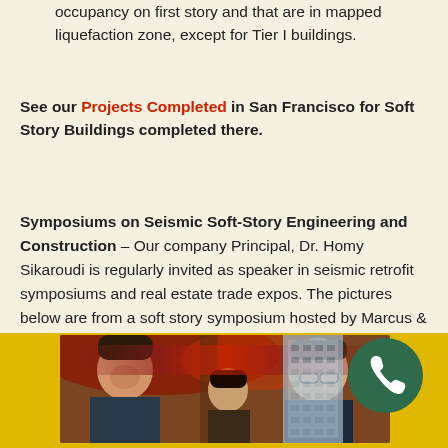occupancy on first story and that are in mapped liquefaction zone, except for Tier I buildings.
See our Projects Completed in San Francisco for Soft Story Buildings completed there.
Symposiums on Seismic Soft-Story Engineering and Construction – Our company Principal, Dr. Homy Sikaroudi is regularly invited as speaker in seismic retrofit symposiums and real estate trade expos. The pictures below are from a soft story symposium hosted by Marcus & Millichap Real Estate Company at Westin St. Francis Hotel, San Francisco in May 2013, where Homy Sikaroudi was one of the key note speakers.
[Figure (photo): Three people at a symposium event with red accent lighting in background, in a hotel ballroom setting]